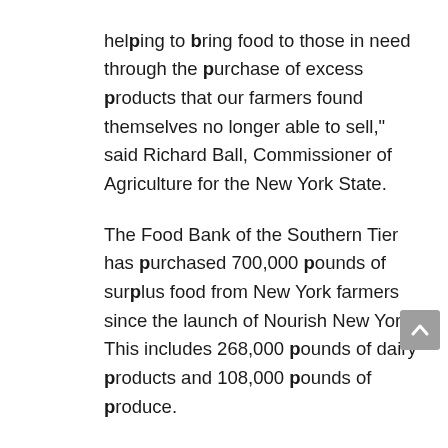helping to bring food to those in need through the purchase of excess products that our farmers found themselves no longer able to sell," said Richard Ball, Commissioner of Agriculture for the New York State.
The Food Bank of the Southern Tier has purchased 700,000 pounds of surplus food from New York farmers since the launch of Nourish New York. This includes 268,000 pounds of dairy products and 108,000 pounds of produce.
“Nourish New York has allowed us to